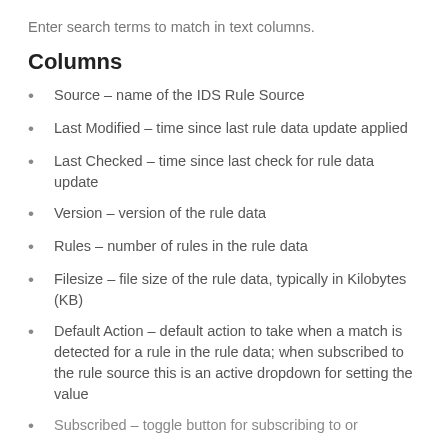Enter search terms to match in text columns.
Columns
Source – name of the IDS Rule Source
Last Modified – time since last rule data update applied
Last Checked – time since last check for rule data update
Version – version of the rule data
Rules – number of rules in the rule data
Filesize – file size of the rule data, typically in Kilobytes (KB)
Default Action – default action to take when a match is detected for a rule in the rule data; when subscribed to the rule source this is an active dropdown for setting the value
Subscribed – toggle button for subscribing to or...